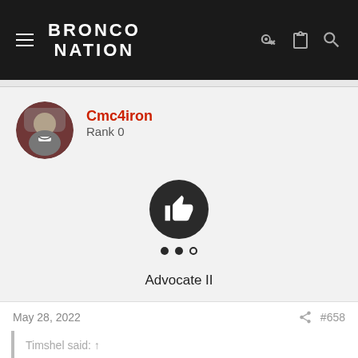BRONCO NATION
Cmc4iron
Rank 0
[Figure (illustration): Thumbs up badge icon (dark circle with white thumbs up) labeled Advocate II with two filled dots and one ring dot below]
Advocate II
May 28, 2022   #658
Timshel said: ↑
Got the same email with the same order and almost the same delivery date today! Here's to hoping we're not delayed.